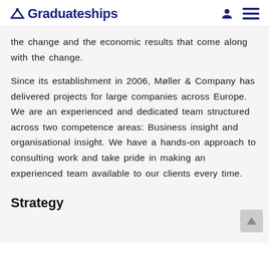Graduateships
the change and the economic results that come along with the change.
Since its establishment in 2006, Møller & Company has delivered projects for large companies across Europe. We are an experienced and dedicated team structured across two competence areas: Business insight and organisational insight. We have a hands-on approach to consulting work and take pride in making an experienced team available to our clients every time.
Strategy